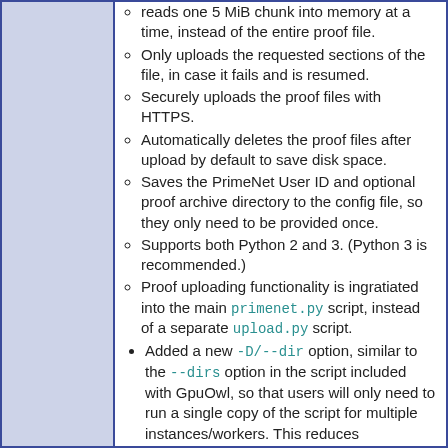reads one 5 MiB chunk into memory at a time, instead of the entire proof file.
Only uploads the requested sections of the file, in case it fails and is resumed.
Securely uploads the proof files with HTTPS.
Automatically deletes the proof files after upload by default to save disk space.
Saves the PrimeNet User ID and optional proof archive directory to the config file, so they only need to be provided once.
Supports both Python 2 and 3. (Python 3 is recommended.)
Proof uploading functionality is ingratiated into the main primenet.py script, instead of a separate upload.py script.
Added a new -D/--dir option, similar to the --dirs option in the script included with GpuOwl, so that users will only need to run a single copy of the script for multiple instances/workers. This reduces